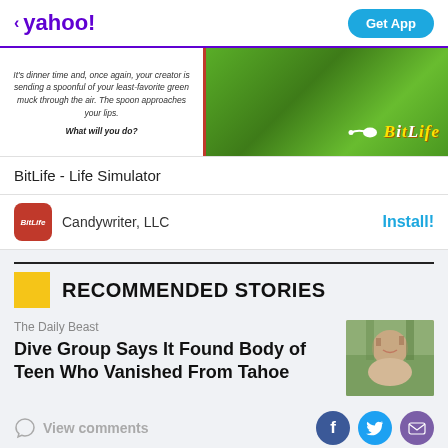< yahoo!  Get App
[Figure (screenshot): BitLife - Life Simulator advertisement banner with green leafy background and BitLife logo with sperm icon]
BitLife - Life Simulator
Candywriter, LLC    Install!
RECOMMENDED STORIES
The Daily Beast
Dive Group Says It Found Body of Teen Who Vanished From Tahoe
View comments